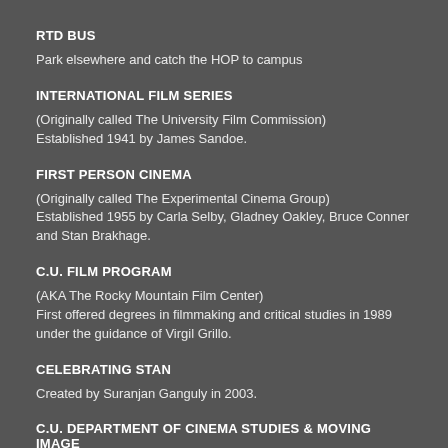RTD BUS
Park elsewhere and catch the HOP to campus
INTERNATIONAL FILM SERIES
(Originally called The University Film Commission)
Established 1941 by James Sandoe.
FIRST PERSON CINEMA
(Originally called The Experimental Cinema Group)
Established 1955 by Carla Selby, Gladney Oakley, Bruce Conner and Stan Brakhage.
C.U. FILM PROGRAM
(AKA The Rocky Mountain Film Center)
First offered degrees in filmmaking and critical studies in 1989 under the guidance of Virgil Grillo.
CELEBRATING STAN
Created by Suranjan Ganguly in 2003.
C.U. DEPARTMENT OF CINEMA STUDIES & MOVING IMAGE ARTS